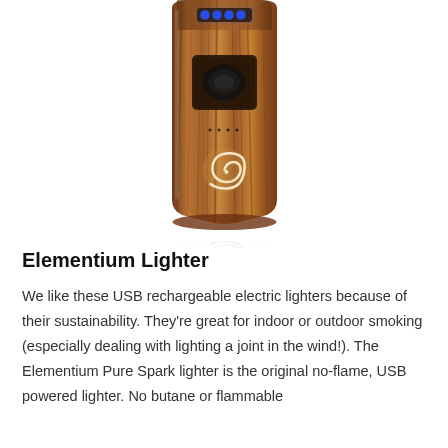[Figure (photo): A wood-grain textured Elementium electric USB rechargeable lighter standing upright, with blue LED lights visible near the top and a white spiral logo on the lower front. A reflection of the lighter is visible below it.]
Elementium Lighter
We like these USB rechargeable electric lighters because of their sustainability. They're great for indoor or outdoor smoking (especially dealing with lighting a joint in the wind!). The Elementium Pure Spark lighter is the original no-flame, USB powered lighter. No butane or flammable